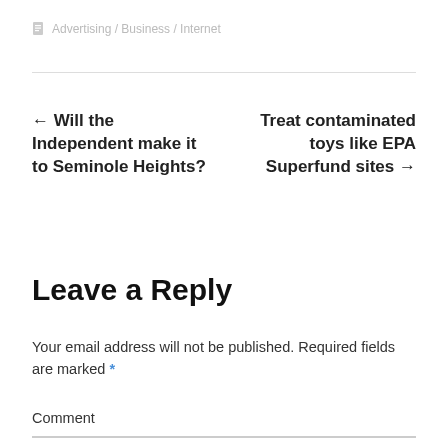Advertising / Business / Internet
← Will the Independent make it to Seminole Heights?
Treat contaminated toys like EPA Superfund sites →
Leave a Reply
Your email address will not be published. Required fields are marked *
Comment